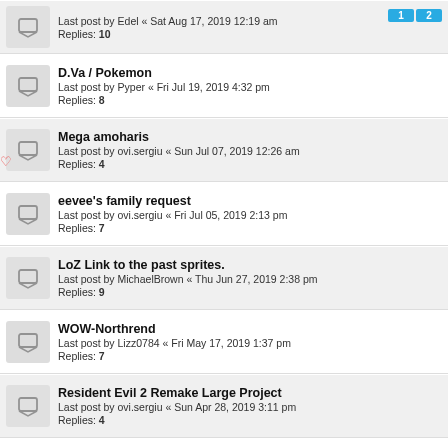Last post by Edel « Sat Aug 17, 2019 12:19 am
Replies: 10
D.Va / Pokemon
Last post by Pyper « Fri Jul 19, 2019 4:32 pm
Replies: 8
Mega amoharis
Last post by ovi.sergiu « Sun Jul 07, 2019 12:26 am
Replies: 4
eevee's family request
Last post by ovi.sergiu « Fri Jul 05, 2019 2:13 pm
Replies: 7
LoZ Link to the past sprites.
Last post by MichaelBrown « Thu Jun 27, 2019 2:38 pm
Replies: 9
WOW-Northrend
Last post by Lizz0784 « Fri May 17, 2019 1:37 pm
Replies: 7
Resident Evil 2 Remake Large Project
Last post by ovi.sergiu « Sun Apr 28, 2019 3:11 pm
Replies: 4
The last guardian trico request
Last post by blackmageheart « Sat Mar 23, 2019 3:43 pm
Replies: 3
547 topics  1 2 3 4 5 ... 22